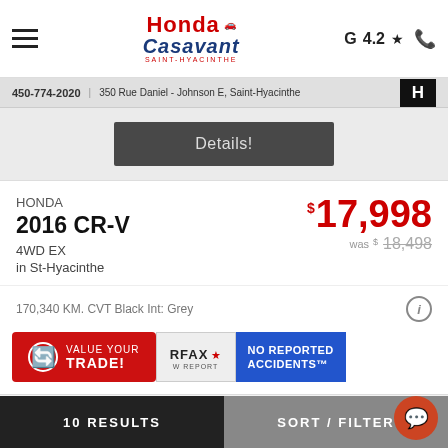Honda Casavant — Saint-Hyacinthe | G 4.2★
450-774-2020 | 350 Rue Daniel - Johnson E, Saint-Hyacinthe
Details!
HONDA
$17,998
2016 CR-V
was $18,498
4WD EX
in St-Hyacinthe
170,340 KM. CVT Black Int: Grey
VALUE YOUR TRADE!
RFAX ★
VW REPORT
NO REPORTED ACCIDENTS™
10 RESULTS | SORT / FILTER